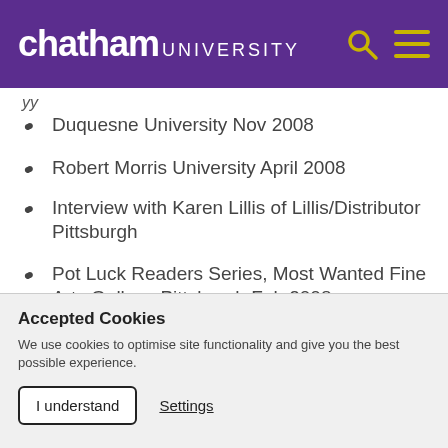chatham UNIVERSITY
Duquesne University Nov 2008
Robert Morris University April 2008
Interview with Karen Lillis of Lillis/Distributor Pittsburgh
Pot Luck Readers Series, Most Wanted Fine Arts Gallery, Pittsburgh Feb 2008
Choice Cuts, Slaughterhouse, Pittsburgh Feb
Accepted Cookies
We use cookies to optimise site functionality and give you the best possible experience.
I understand   Settings